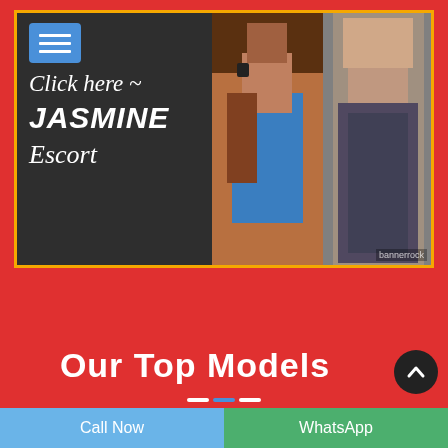[Figure (photo): Banner advertisement with dark chalkboard background on left showing text 'Click here ~ JASMINE Escort' with a hamburger menu icon, and two photos of a woman on the right side]
Our Top Models
Call Now
WhatsApp